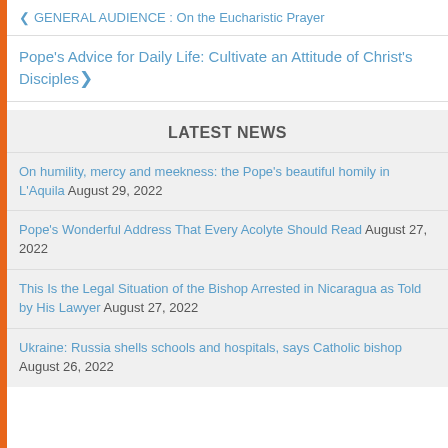GENERAL AUDIENCE : On the Eucharistic Prayer
Pope's Advice for Daily Life: Cultivate an Attitude of Christ's Disciples
LATEST NEWS
On humility, mercy and meekness: the Pope's beautiful homily in L'Aquila August 29, 2022
Pope's Wonderful Address That Every Acolyte Should Read August 27, 2022
This Is the Legal Situation of the Bishop Arrested in Nicaragua as Told by His Lawyer August 27, 2022
Ukraine: Russia shells schools and hospitals, says Catholic bishop August 26, 2022